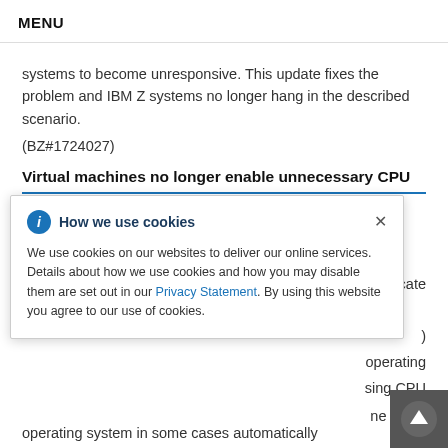MENU
systems to become unresponsive. This update fixes the problem and IBM Z systems no longer hang in the described scenario.
(BZ#1724027)
Virtual machines no longer enable unnecessary CPU
[Figure (other): Cookie consent banner overlay with 'How we use cookies' title, information icon, close button, body text about cookie usage, Privacy Statement link, and agreement text.]
n indicate
)
operating
sing CPU
ne guest
operating system in some cases automatically